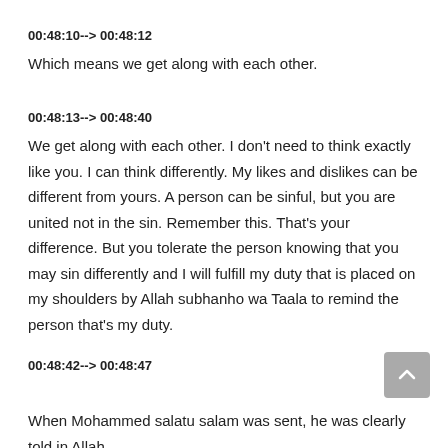00:48:10--> 00:48:12
Which means we get along with each other.
00:48:13--> 00:48:40
We get along with each other. I don't need to think exactly like you. I can think differently. My likes and dislikes can be different from yours. A person can be sinful, but you are united not in the sin. Remember this. That's your difference. But you tolerate the person knowing that you may sin differently and I will fulfill my duty that is placed on my shoulders by Allah subhanho wa Taala to remind the person that's my duty.
00:48:42--> 00:48:47
When Mohammed salatu salam was sent, he was clearly told in Allah,